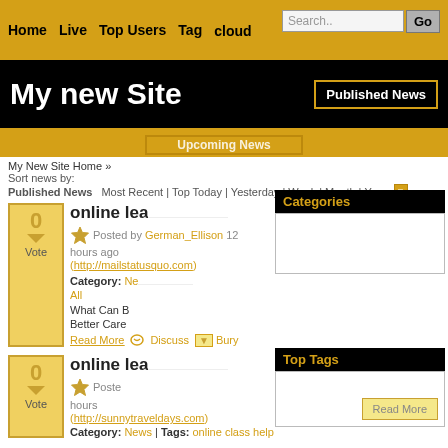Home | Live | Top Users | Tag cloud
My new Site
Published News
Upcoming News
My New Site Home »
Sort news by: Most Recent | Top Today | Yesterday | Week | Month | Year
online learning
Posted by German_Ellison 12 hours ago (http://mailstatusquo.com)
Category: News | Tags: All
What Can E...
Better Care...
Read More
Discuss | Bury
Categories
Top Tags
online lea...
Posted... hours ago (http://sunnytraveldays.com)
Category: News | Tags: online class help
Read More